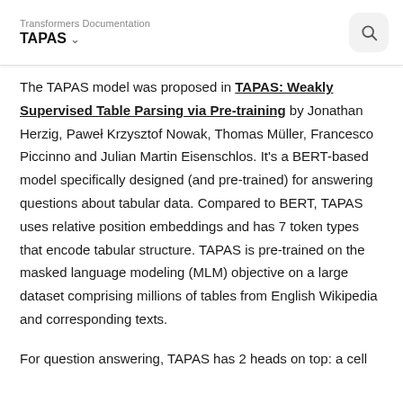Transformers Documentation
TAPAS
The TAPAS model was proposed in TAPAS: Weakly Supervised Table Parsing via Pre-training by Jonathan Herzig, Paweł Krzysztof Nowak, Thomas Müller, Francesco Piccinno and Julian Martin Eisenschlos. It's a BERT-based model specifically designed (and pre-trained) for answering questions about tabular data. Compared to BERT, TAPAS uses relative position embeddings and has 7 token types that encode tabular structure. TAPAS is pre-trained on the masked language modeling (MLM) objective on a large dataset comprising millions of tables from English Wikipedia and corresponding texts.
For question answering, TAPAS has 2 heads on top: a cell